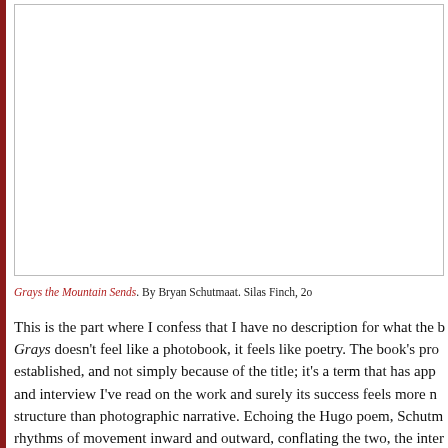[Figure (photo): A photograph displayed in a bordered white box, mostly white/light toned image of landscape or mountain scenery (Grays the Mountain Sends)]
Grays the Mountain Sends. By Bryan Schutmaat. Silas Finch, 2o...
This is the part where I confess that I have no description for what the b... Grays doesn't feel like a photobook, it feels like poetry. The book's pro... established, and not simply because of the title; it's a term that has app... and interview I've read on the work and surely its success feels more r... structure than photographic narrative. Echoing the Hugo poem, Schutm... rhythms of movement inward and outward, conflating the two, the inter... integral to the narrative of self as to be indistinguishable. The precision...